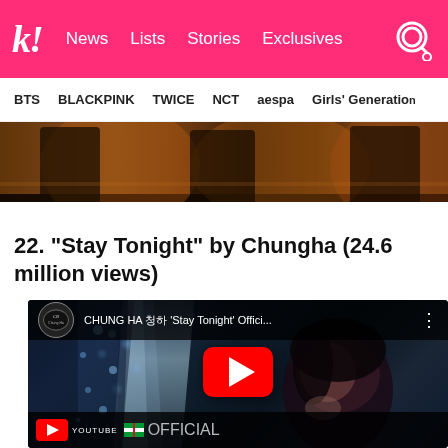k! News | Lists | Stories | Exclusives
BTS | BLACKPINK | TWICE | NCT | aespa | Girls' Generation
[Figure (photo): Cropped music video still showing dark silhouettes of dancers against warm amber/golden light in what appears to be a luxurious indoor setting]
22. “Stay Tonight” by Chungha (24.6 million views)
[Figure (screenshot): YouTube embedded video player showing CHUNG HA ‘Stay Tonight’ Official MV thumbnail with a woman with dark hair against a dark blue background, featuring the YouTube play button overlay. The video title reads: CHUNG HA 초아 'Stay Tonight' Offici...]